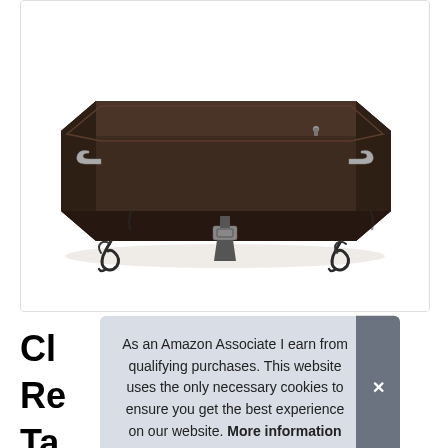[Figure (photo): Product photo of a dark brown rectangular fire pit cover with handles, buckle straps, and decorative scroll legs visible underneath, on a white background.]
Cl
Re
Ta
As an Amazon Associate I earn from qualifying purchases. This website uses the only necessary cookies to ensure you get the best experience on our website. More information